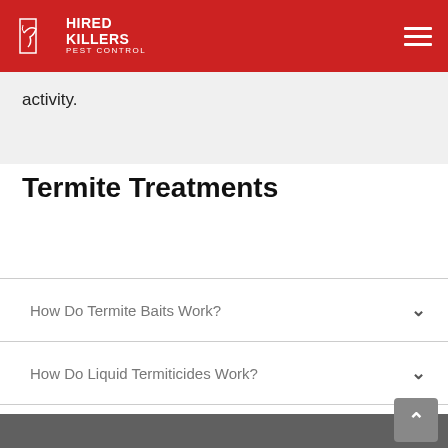HIRED KILLERS PEST CONTROL
activity.
Termite Treatments
How Do Termite Baits Work?
How Do Liquid Termiticides Work?
How Do Borates Work?